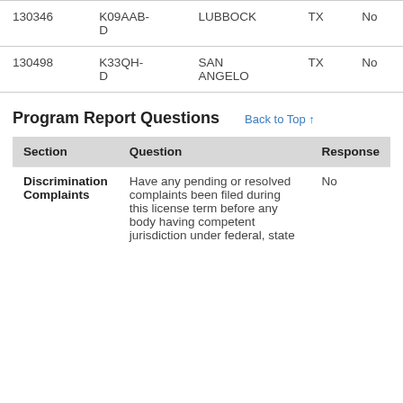| ID | Code | City | State | Value |
| --- | --- | --- | --- | --- |
| 130346 | K09AAB-D | LUBBOCK | TX | No |
| 130498 | K33QH-D | SAN ANGELO | TX | No |
Program Report Questions
| Section | Question | Response |
| --- | --- | --- |
| Discrimination Complaints | Have any pending or resolved complaints been filed during this license term before any body having competent jurisdiction under federal, state | No |